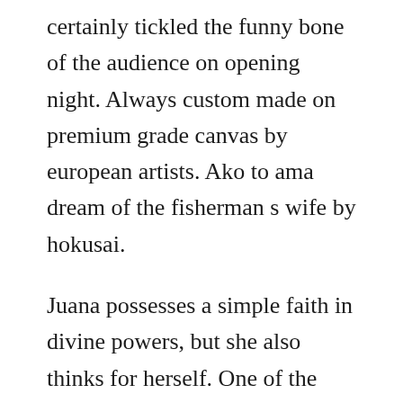certainly tickled the funny bone of the audience on opening night. Always custom made on premium grade canvas by european artists. Ako to ama dream of the fisherman s wife by hokusai.
Juana possesses a simple faith in divine powers, but she also thinks for herself. One of the most recognizable japanese paintings is the dream of the fishermans wife. The dream of the fishermans wife ebook by krissy kneen. Supplement your lesson with one or more of these options and challenge students to